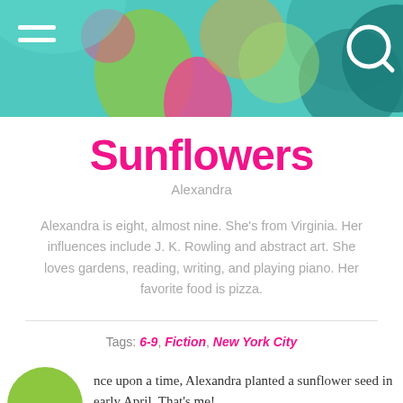[Figure (illustration): Colorful abstract header banner with overlapping teardrop and circular shapes in teal, green, pink, and gold tones. Hamburger menu icon in white top-left, search icon in white top-right.]
Sunflowers
Alexandra
Alexandra is eight, almost nine. She's from Virginia. Her influences include J. K. Rowling and abstract art. She loves gardens, reading, writing, and playing piano. Her favorite food is pizza.
Tags: 6-9, Fiction, New York City
nce upon a time, Alexandra planted a sunflower seed in early April. That's me!